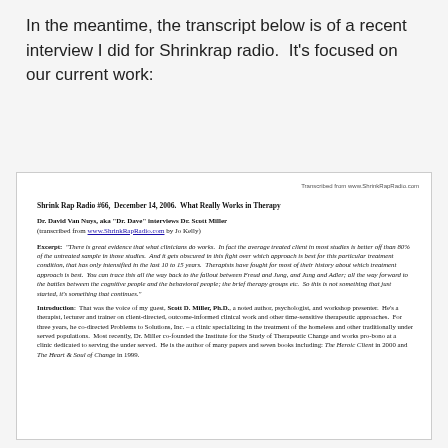In the meantime, the transcript below is of a recent interview I did for Shrinkrap radio. It's focused on our current work:
Transcribed from www.ShrinkRapRadio.com
Shrink Rap Radio #66, December 14, 2006. What Really Works in Therapy
Dr. David Van Nuys, aka "Dr. Dave" interviews Dr. Scott Miller (transcribed from www.ShrinkRapRadio.com by Jo Kelly)
Excerpt: "There is great evidence that what clinicians do works. In fact the average treated client in most studies is better off than 80% of the untreated sample in those studies. And it gets obscured in this fight over which approach is best for this particular treatment condition, that has only intensified in the last 10 to 15 years. Therapists have fought for most of their history about which treatment approach is best. You can trace this all the way back to the fallout between Freud and Jung, and Jung and Adler; all the way forward to the battles between the cognitive people and the behavioral people; the brief therapy groups etc. So this is not something that just started, it's something that continues."
Introduction: That was the voice of my guest, Scott D. Miller, Ph.D., a noted author, psychologist, and workshop presenter. He's a therapist, lecturer and trainer on client-directed, outcome-informed clinical work and other time-sensitive therapeutic approaches. For three years, he co-directed Problems to Solutions, Inc. – a clinic specializing in the treatment of the homeless and other traditionally under served populations. Most recently, Dr. Miller co-founded the Institute for the Study of Therapeutic Change and works pro-bono at a clinic dedicated to serving the under served. He is the author of many papers and seven books including: The Heroic Client in 2000 and The Heart & Soul of Change in 1999.